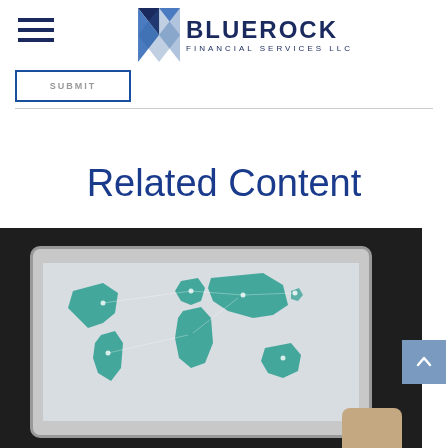Bluerock Financial Services LLC — site header with hamburger menu and logo
SUBMIT
Related Content
[Figure (photo): A person holding a tablet displaying a world map with teal/blue highlighted continents connected by network lines, dark background.]